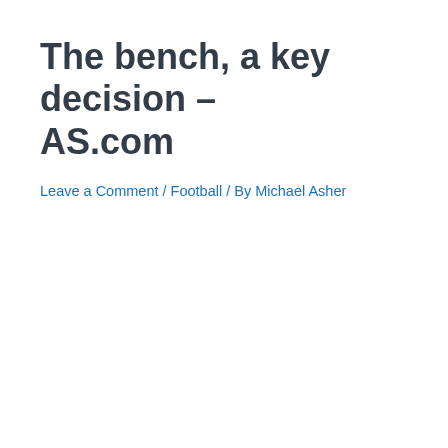The bench, a key decision – AS.com
Leave a Comment / Football / By Michael Asher